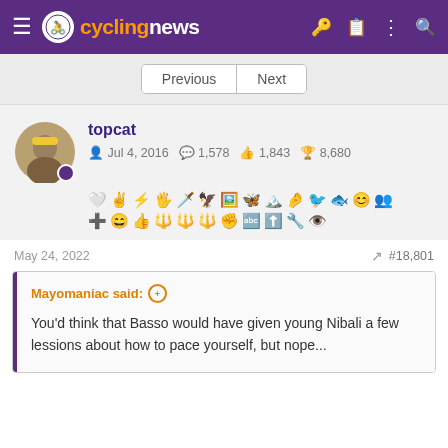cyclingnews
Previous | Next
topcat
Jul 4, 2016  1,578  1,843  8,680
May 24, 2022  #18,801
Mayomaniac said:
You'd think that Basso would have given young Nibali a few lessions about how to pace yourself, but nope...